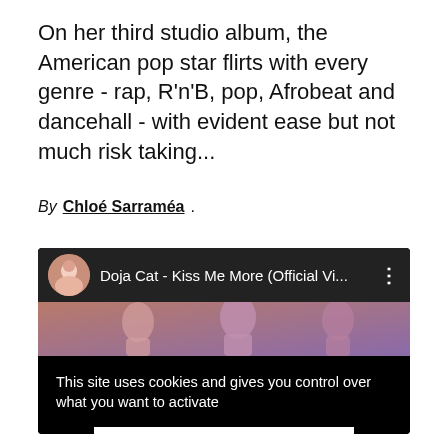On her third studio album, the American pop star flirts with every genre - rap, R'n'B, pop, Afrobeat and dancehall - with evident ease but not much risk taking...
By Chloé Sarraméa .
[Figure (screenshot): Embedded YouTube video player showing 'Doja Cat - Kiss Me More (Official Vi...' with a cookie consent overlay on a black background. The overlay shows text 'This site uses cookies and gives you control over what you want to activate' with buttons 'OK, ACCEPT ALL' and 'PERSONALIZE'.]